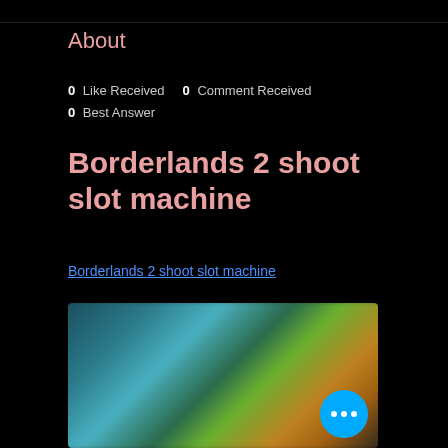About
0 Like Received   0 Comment Received
0 Best Answer
Borderlands 2 shoot slot machine
Borderlands 2 shoot slot machine
[Figure (screenshot): Blurred screenshot from Borderlands 2 showing colorful game characters with a blue circular button with three dots in the lower right corner]